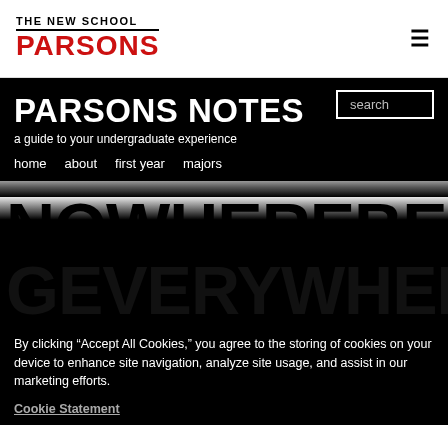THE NEW SCHOOL PARSONS
PARSONS NOTES
a guide to your undergraduate experience
home   about   first year   majors
NOWHEREBELON GEVERYWHERE
By clicking “Accept All Cookies,” you agree to the storing of cookies on your device to enhance site navigation, analyze site usage, and assist in our marketing efforts.
Cookie Statement